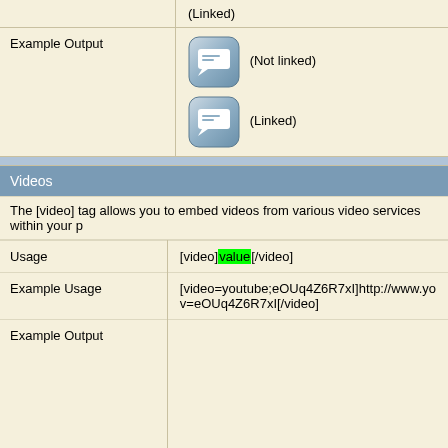|  | (Linked) |
| Example Output | (icon) (Not linked)
(icon) (Linked) |
Videos
The [video] tag allows you to embed videos from various video services within your p
| Usage | [video]value[/video] |
| Example Usage | [video=youtube;eOUq4Z6R7xI]http://www.yo...
v=eOUq4Z6R7xI[/video] |
| Example Output |  |